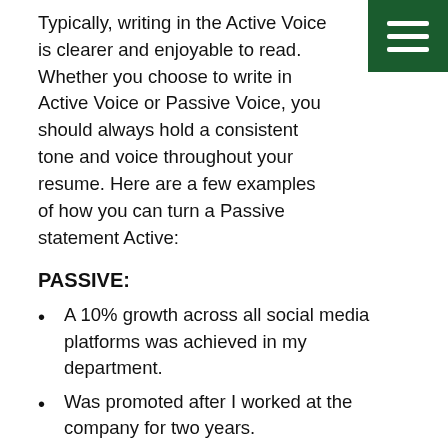Typically, writing in the Active Voice is clearer and enjoyable to read. Whether you choose to write in Active Voice or Passive Voice, you should always hold a consistent tone and voice throughout your resume. Here are a few examples of how you can turn a Passive statement Active:
PASSIVE:
A 10% growth across all social media platforms was achieved in my department.
Was promoted after I worked at the company for two years.
Clear communication was one of my greatest strengths.
ACTIVE:
Over one year, my team grew each social media